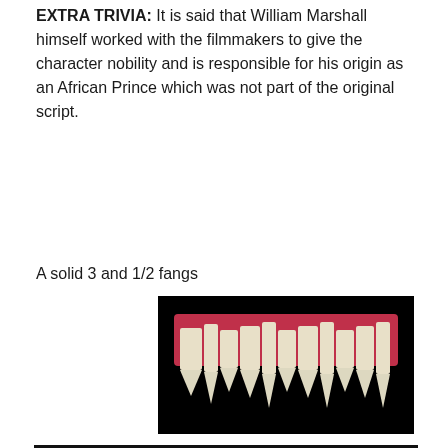EXTRA TRIVIA: It is said that William Marshall himself worked with the filmmakers to give the character nobility and is responsible for his origin as an African Prince which was not part of the original script.
A solid 3 and 1/2 fangs
[Figure (photo): Close-up photo of vampire fangs on a black background, showing four sets of upper teeth with elongated canines and pink gums.]
[Figure (screenshot): YouTube video thumbnail for 'Blacula (1972) Widescreen Trailer' with BBC logo, showing a dark interface with three-dot menu icon.]
Privacy & Cookies: This site uses cookies. By continuing to use this website, you agree to their use.
To find out more, including how to control cookies, see here: Cookie Policy
Close and accept